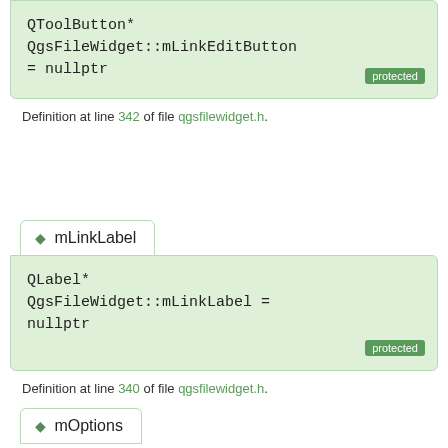QToolButton* QgsFileWidget::mLinkEditButton = nullptr [protected]
Definition at line 342 of file qgsfilewidget.h.
◆ mLinkLabel
QLabel* QgsFileWidget::mLinkLabel = nullptr [protected]
Definition at line 340 of file qgsfilewidget.h.
◆ mOptions